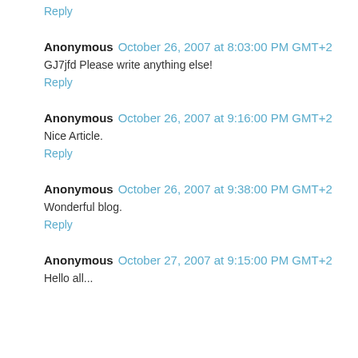Reply
Anonymous  October 26, 2007 at 8:03:00 PM GMT+2
GJ7jfd Please write anything else!
Reply
Anonymous  October 26, 2007 at 9:16:00 PM GMT+2
Nice Article.
Reply
Anonymous  October 26, 2007 at 9:38:00 PM GMT+2
Wonderful blog.
Reply
Anonymous  October 27, 2007 at 9:15:00 PM GMT+2
Hello all...